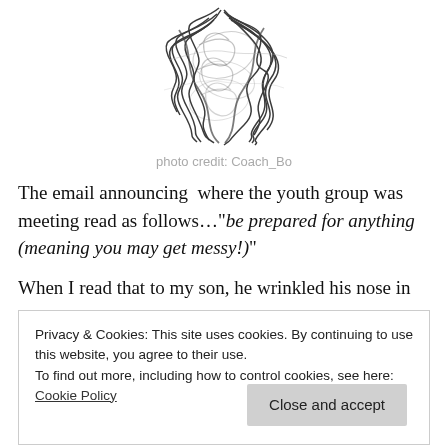[Figure (illustration): Abstract scribble/tangle of dark lines illustration, centered at top of page]
photo credit: Coach_Bo
The email announcing  where the youth group was meeting read as follows…"be prepared for anything (meaning you may get messy!)"
When I read that to my son, he wrinkled his nose in
Privacy & Cookies: This site uses cookies. By continuing to use this website, you agree to their use.
To find out more, including how to control cookies, see here: Cookie Policy
supposed to do something about it. (I do admit to being a